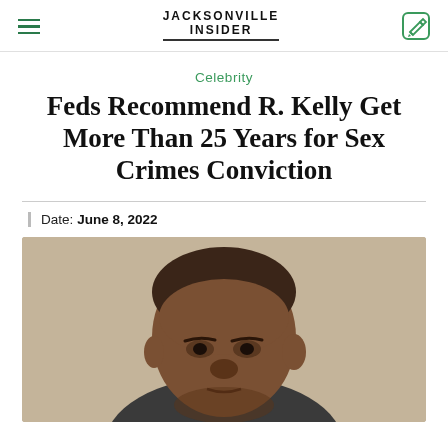JACKSONVILLE INSIDER
Celebrity
Feds Recommend R. Kelly Get More Than 25 Years for Sex Crimes Conviction
Date: June 8, 2022
[Figure (photo): Close-up photo of a Black man's head and shoulders, partially visible, against a beige/tan background]